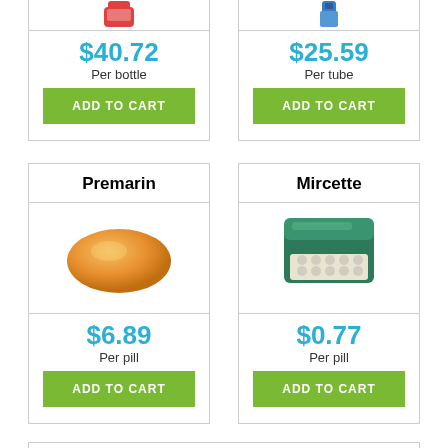[Figure (photo): Partial product image top left (bottle)]
$40.72
Per bottle
ADD TO CART
[Figure (photo): Partial product image top right (tube)]
$25.59
Per tube
ADD TO CART
Premarin
[Figure (photo): Orange oval pill image for Premarin]
$6.89
Per pill
ADD TO CART
Mircette
[Figure (photo): Green pill blister pack image for Mircette]
$0.77
Per pill
ADD TO CART
We accept: